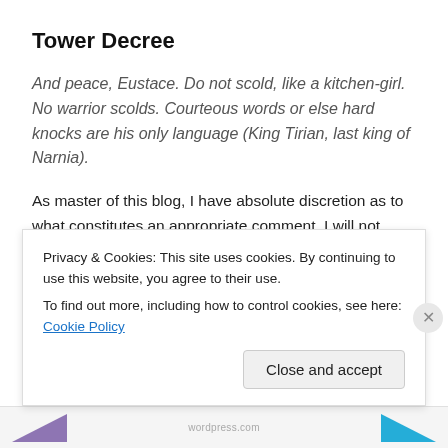Tower Decree
And peace, Eustace. Do not scold, like a kitchen-girl. No warrior scolds. Courteous words or else hard knocks are his only language (King Tirian, last king of Narnia).
As master of this blog, I have absolute discretion as to what constitutes an appropriate comment. I will not tolerate profanity, blasphemy or any kind of inflammatory remark. The virtues of chivalry are fidelity, honesty, courtesy, prowess and generosity. Commenters would do well to familiarize themselves with these assets before engaging me or other commenters.
Privacy & Cookies: This site uses cookies. By continuing to use this website, you agree to their use.
To find out more, including how to control cookies, see here: Cookie Policy
Close and accept